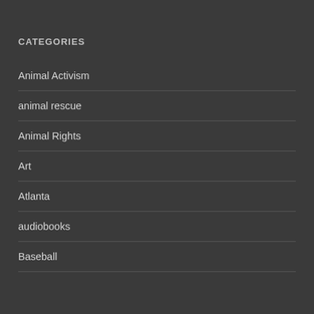CATEGORIES
Animal Activism
animal rescue
Animal Rights
Art
Atlanta
audiobooks
Baseball